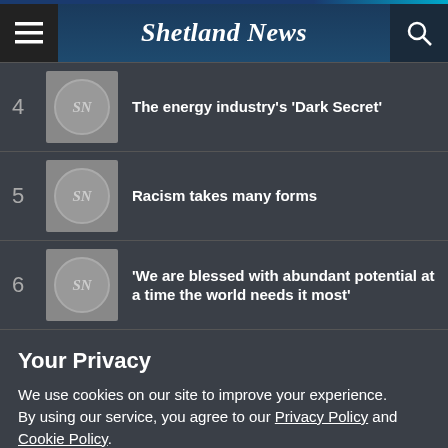Shetland News
4 The energy industry's 'Dark Secret'
5 Racism takes many forms
6 'We are blessed with abundant potential at a time the world needs it most'
Your Privacy
We use cookies on our site to improve your experience.
By using our service, you agree to our Privacy Policy and Cookie Policy.
I'm OK with that